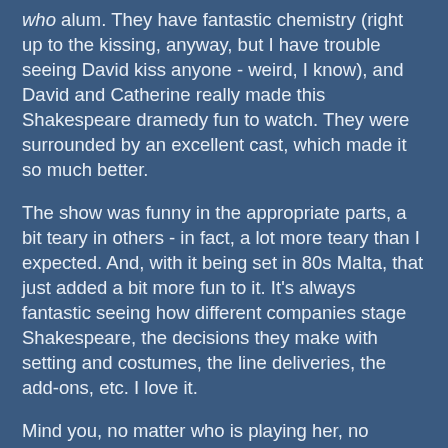who alum. They have fantastic chemistry (right up to the kissing, anyway, but I have trouble seeing David kiss anyone - weird, I know), and David and Catherine really made this Shakespeare dramedy fun to watch. They were surrounded by an excellent cast, which made it so much better.
The show was funny in the appropriate parts, a bit teary in others - in fact, a lot more teary than I expected. And, with it being set in 80s Malta, that just added a bit more fun to it. It's always fantastic seeing how different companies stage Shakespeare, the decisions they make with setting and costumes, the line deliveries, the add-ons, etc. I love it.
Mind you, no matter who is playing her, no matter what the production, I still regard Hero as the worst, most niminy-piminy heroine ever in the history of heroines, for taking Claudio back after the way he devastated her at the altar. I hate her for it.
I mean, really, you can totally tell a man wrote that story!
*eta: